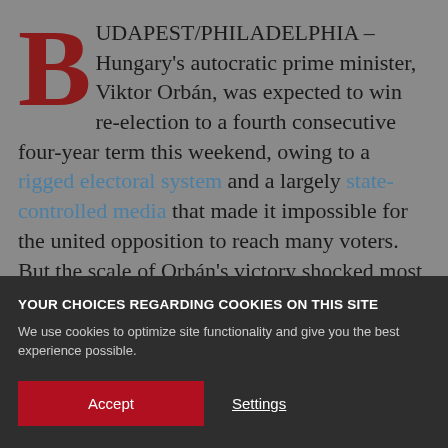BUDAPEST/PHILADELPHIA – Hungary's autocratic prime minister, Viktor Orbán, was expected to win re-election to a fourth consecutive four-year term this weekend, owing to a rigged electoral system and a largely state-controlled media that made it impossible for the united opposition to reach many voters. But the scale of Orbán's victory shocked most observers. United for Hungary candidate Péter Márki-Zay lost the popular vote by 53% to 35%, giving Orbán's Fidesz
YOUR CHOICES REGARDING COOKIES ON THIS SITE
We use cookies to optimize site functionality and give you the best experience possible.
Accept
Settings